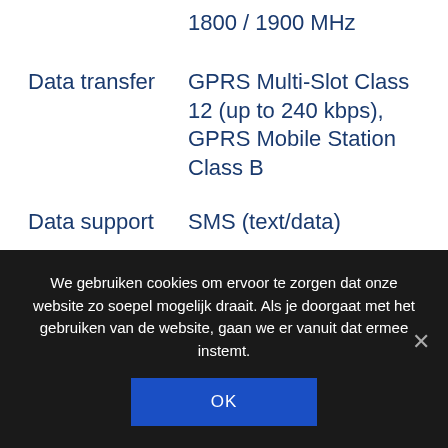1800 / 1900 MHz
Data transfer
Data support
POWER
Charging voltage
We gebruiken cookies om ervoor te zorgen dat onze website zo soepel mogelijk draait. Als je doorgaat met het gebruiken van de website, gaan we er vanuit dat ermee instemt.
OK